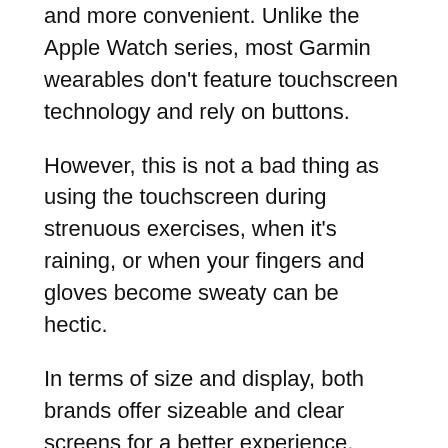and more convenient. Unlike the Apple Watch series, most Garmin wearables don't feature touchscreen technology and rely on buttons.
However, this is not a bad thing as using the touchscreen during strenuous exercises, when it's raining, or when your fingers and gloves become sweaty can be hectic.
In terms of size and display, both brands offer sizeable and clear screens for a better experience. However, Apple seems to have an edge on this front with the retina display and the touchscreen technology.